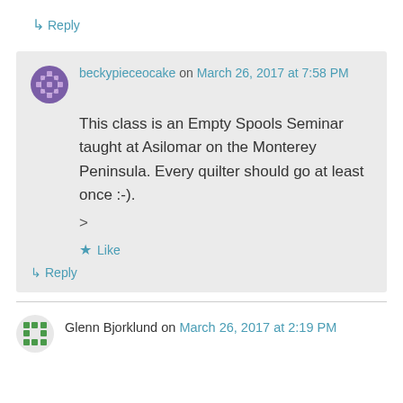↳ Reply
beckypieceocake on March 26, 2017 at 7:58 PM
This class is an Empty Spools Seminar taught at Asilomar on the Monterey Peninsula. Every quilter should go at least once :-).
>
★ Like
↳ Reply
Glenn Bjorklund on March 26, 2017 at 2:19 PM